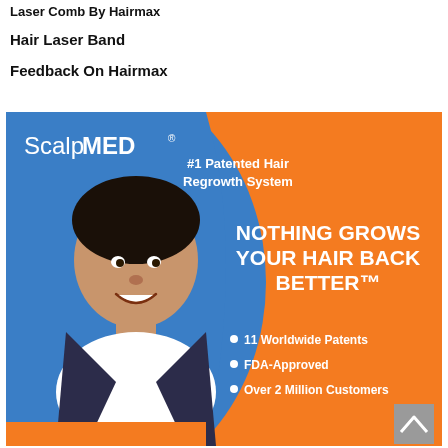Laser Comb By Hairmax
Hair Laser Band
Feedback On Hairmax
[Figure (photo): ScalpMED advertisement banner featuring a smiling man with dark hair on a blue and orange background. Text reads: ScalpMED #1 Patented Hair Regrowth System. NOTHING GROWS YOUR HAIR BACK BETTER™. Bullet points: 11 Worldwide Patents, FDA-Approved, Over 2 Million Customers. Grey scroll-to-top button in bottom right corner.]